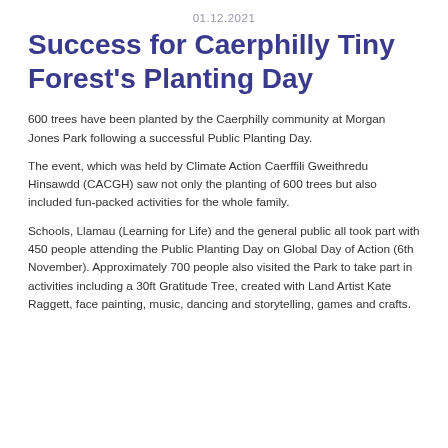01.12.2021
Success for Caerphilly Tiny Forest's Planting Day
600 trees have been planted by the Caerphilly community at Morgan Jones Park following a successful Public Planting Day.
The event, which was held by Climate Action Caerffili Gweithredu Hinsawdd (CACGH) saw not only the planting of 600 trees but also included fun-packed activities for the whole family.
Schools, Llamau (Learning for Life) and the general public all took part with 450 people attending the Public Planting Day on Global Day of Action (6th November). Approximately 700 people also visited the Park to take part in activities including a 30ft Gratitude Tree, created with Land Artist Kate Raggett, face painting, music, dancing and storytelling, games and crafts.